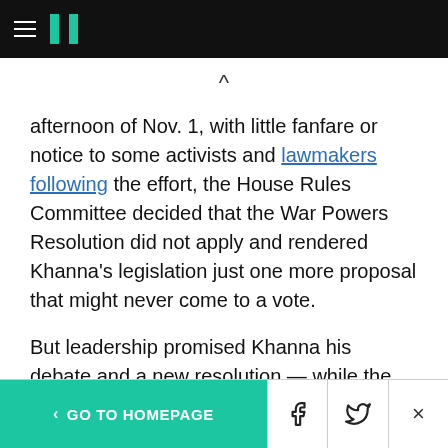HuffPost navigation header
afternoon of Nov. 1, with little fanfare or notice to some activists and lawmakers following the effort, the House Rules Committee decided that the War Powers Resolution did not apply and rendered Khanna’s legislation just one more proposal that might never come to a vote.
But leadership promised Khanna his debate and a new resolution — while the old one stayed alive and even attracted more co-sponsors once
< GO TO HOMEPAGE